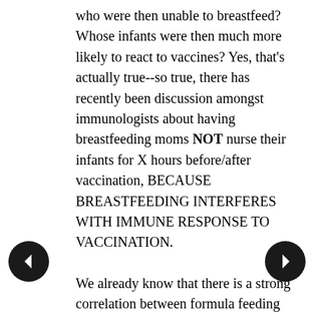who were then unable to breastfeed? Whose infants were then much more likely to react to vaccines? Yes, that's actually true--so true, there has recently been discussion amongst immunologists about having breastfeeding moms NOT nurse their infants for X hours before/after vaccination, BECAUSE BREASTFEEDING INTERFERES WITH IMMUNE RESPONSE TO VACCINATION.

We already know that there is a strong correlation between formula feeding and autism. Hell, I heard Andy Wakefield mention that one in a lecture a decade ago. Breastfeeding isn't failsafe, of course (especially if Mom is vaccinated while pregnant, or is consuming mercury-laden fish), but it does have a protective effect